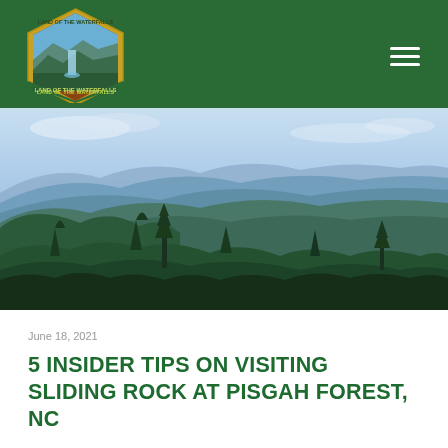[Figure (logo): Land of the Waterfalls hexagonal logo with mountains, trees, and waterfall imagery on dark green background]
[Figure (photo): Aerial panoramic view of the Blue Ridge Mountains with layered green forested ridges and blue sky with light clouds]
June 18, 2021
5 INSIDER TIPS ON VISITING SLIDING ROCK AT PISGAH FOREST, NC